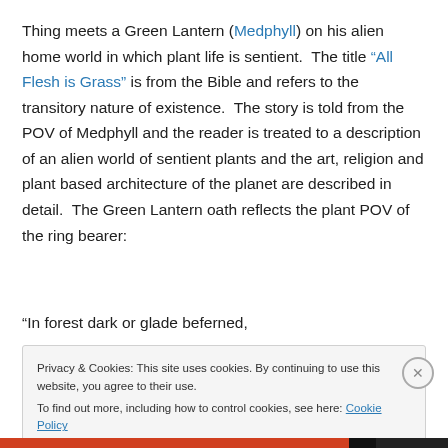Thing meets a Green Lantern (Medphyll) on his alien home world in which plant life is sentient. The title "All Flesh is Grass" is from the Bible and refers to the transitory nature of existence. The story is told from the POV of Medphyll and the reader is treated to a description of an alien world of sentient plants and the art, religion and plant based architecture of the planet are described in detail. The Green Lantern oath reflects the plant POV of the ring bearer:
“In forest dark or glade beferned,
Privacy & Cookies: This site uses cookies. By continuing to use this website, you agree to their use.
To find out more, including how to control cookies, see here: Cookie Policy
Close and accept